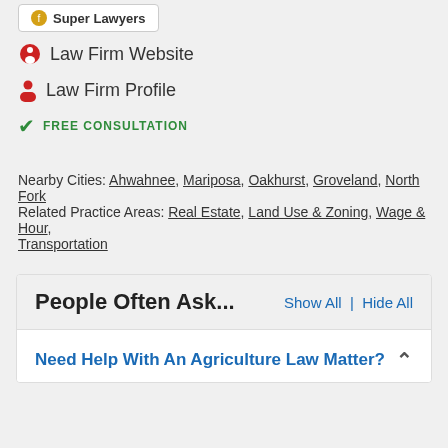Law Firm Website
Law Firm Profile
FREE CONSULTATION
Nearby Cities: Ahwahnee, Mariposa, Oakhurst, Groveland, North Fork
Related Practice Areas: Real Estate, Land Use & Zoning, Wage & Hour, Transportation
People Often Ask...
Show All | Hide All
Need Help With An Agriculture Law Matter?